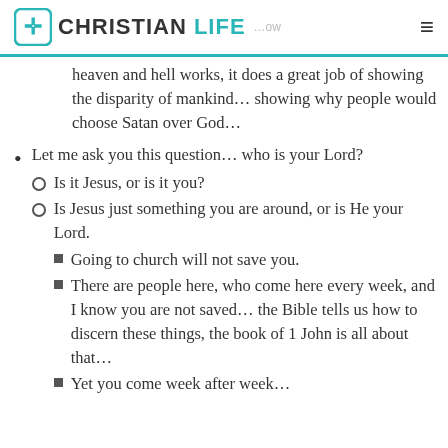CHRISTIAN LIFE
heaven and hell works, it does a great job of showing the disparity of mankind… showing why people would choose Satan over God…
Let me ask you this question… who is your Lord?
Is it Jesus, or is it you?
Is Jesus just something you are around, or is He your Lord.
Going to church will not save you.
There are people here, who come here every week, and I know you are not saved… the Bible tells us how to discern these things, the book of 1 John is all about that…
Yet you come week after week…